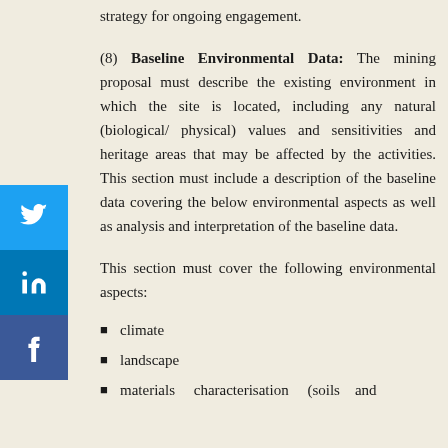strategy for ongoing engagement.
(8) Baseline Environmental Data: The mining proposal must describe the existing environment in which the site is located, including any natural (biological/ physical) values and sensitivities and heritage areas that may be affected by the activities. This section must include a description of the baseline data covering the below environmental aspects as well as analysis and interpretation of the baseline data.
This section must cover the following environmental aspects:
climate
landscape
materials characterisation (soils and